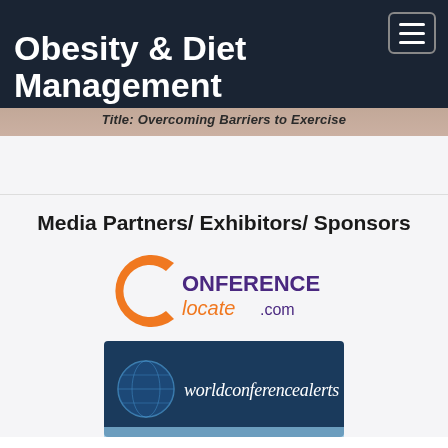Obesity & Diet Management
Title: Overcoming Barriers to Exercise
Media Partners/ Exhibitors/ Sponsors
[Figure (logo): ConferenceLocate.com logo with orange C icon and purple/orange text]
[Figure (logo): worldconferencealerts banner with globe icon on dark blue background]